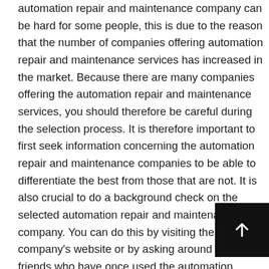automation repair and maintenance company can be hard for some people, this is due to the reason that the number of companies offering automation repair and maintenance services has increased in the market. Because there are many companies offering the automation repair and maintenance services, you should therefore be careful during the selection process. It is therefore important to first seek information concerning the automation repair and maintenance companies to be able to differentiate the best from those that are not. It is also crucial to do a background check on the selected automation repair and maintenance company. You can do this by visiting the company's website or by asking around from friends who have once used the automation repair and maintenance services from a particular company. It is possible to lose a lot of money if you do not do adequate research about the automation repair and maintenance services because you will end up selecting the wrong one. So what do you need to consider when looking to get the best automation repair and maintenance services?